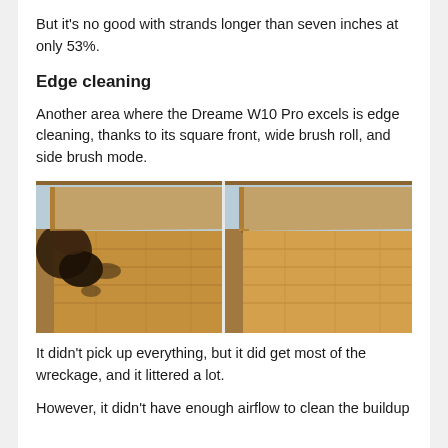But it's no good with strands longer than seven inches at only 53%.
Edge cleaning
Another area where the Dreame W10 Pro excels is edge cleaning, thanks to its square front, wide brush roll, and side brush mode.
[Figure (photo): Before and after comparison of edge cleaning on a wooden floor corner. Left image shows significant dirt and debris accumulation at the floor edge; right image shows the same corner mostly clean after vacuuming.]
It didn't pick up everything, but it did get most of the wreckage, and it littered a lot.
However, it didn't have enough airflow to clean the buildup on the carpet in the corner.